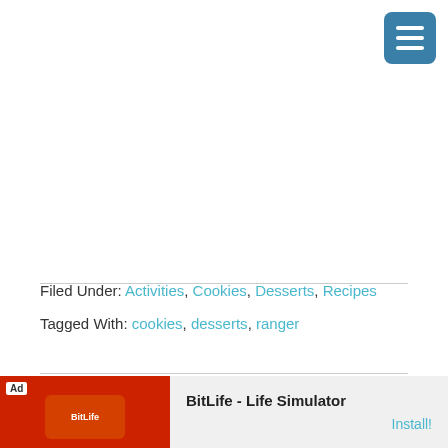[Figure (other): Navigation menu hamburger button icon (teal/blue rounded square with three white horizontal lines)]
Filed Under: Activities, Cookies, Desserts, Recipes
Tagged With: cookies, desserts, ranger
MORE FROM MEANINGFULMAMA
[Figure (other): Advertisement banner: BitLife - Life Simulator app ad with red background and Install button]